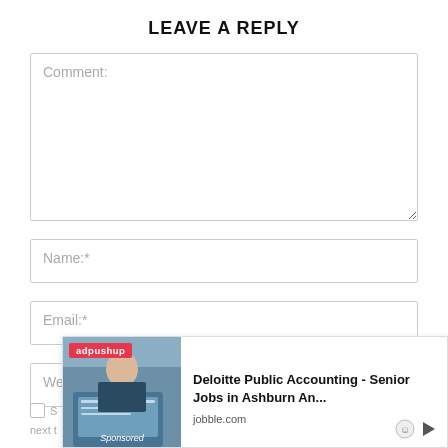LEAVE A REPLY
Comment:
Name:*
Email:*
Website:
[Figure (other): Ad overlay from adpushup for Deloitte Public Accounting - Senior Jobs in Ashburn An... from jobble.com, with a photo of person working on laptop. Labeled 'Sponsored'.]